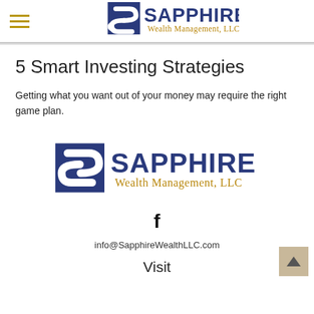Sapphire Wealth Management, LLC
5 Smart Investing Strategies
Getting what you want out of your money may require the right game plan.
[Figure (logo): Sapphire Wealth Management, LLC logo — large centered version with blue S-curve mark and navy/gold text]
f
info@SapphireWealthLLC.com
Visit